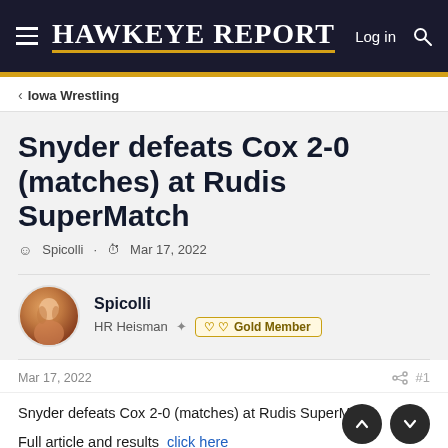Hawkeye Report — Log in
< Iowa Wrestling
Snyder defeats Cox 2-0 (matches) at Rudis SuperMatch
Spicolli · Mar 17, 2022
Spicolli
HR Heisman ✦ ♡ ♡ Gold Member
Mar 17, 2022
< #1
Snyder defeats Cox 2-0 (matches) at Rudis SuperMatch

Full article and results  click here